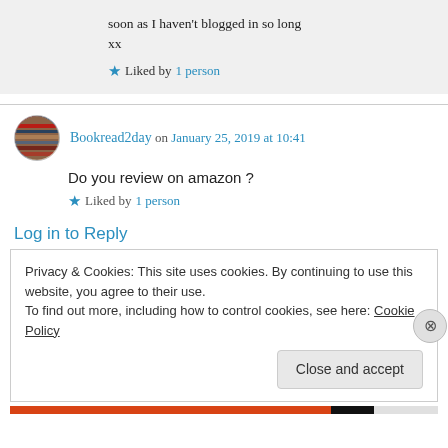soon as I haven't blogged in so long
xx
★ Liked by 1 person
Bookread2day on January 25, 2019 at 10:41
Do you review on amazon ?
★ Liked by 1 person
Log in to Reply
Privacy & Cookies: This site uses cookies. By continuing to use this website, you agree to their use.
To find out more, including how to control cookies, see here: Cookie Policy
Close and accept